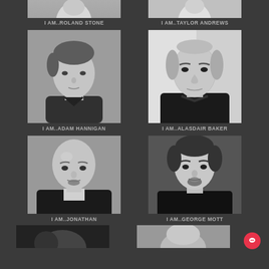[Figure (photo): Partial headshot of Roland Stone at top, black and white]
I AM..ROLAND STONE
[Figure (photo): Partial headshot of Taylor Andrews at top, black and white]
I AM..TAYLOR ANDREWS
[Figure (photo): Black and white headshot of Adam Hannigan, young man with slicked hair]
I AM..ADAM HANNIGAN
[Figure (photo): Black and white headshot of Alasdair Baker, older man in black jacket]
I AM..ALASDAIR BAKER
[Figure (photo): Black and white headshot of Jonathan, bald man in suit]
I AM..JONATHAN
[Figure (photo): Black and white headshot of George Mott, man with goatee]
I AM..GEORGE MOTT
[Figure (photo): Partial headshot at bottom left, black and white]
[Figure (photo): Partial headshot at bottom right, black and white]